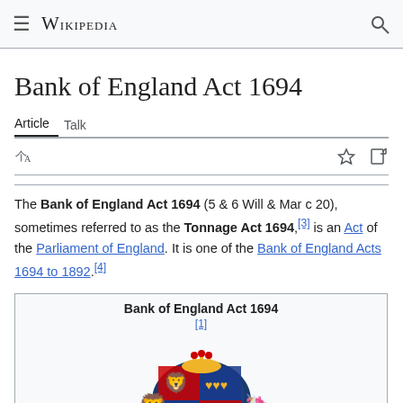≡ WIKIPEDIA 🔍
Bank of England Act 1694
Article   Talk
The Bank of England Act 1694 (5 & 6 Will & Mar c 20), sometimes referred to as the Tonnage Act 1694,[3] is an Act of the Parliament of England. It is one of the Bank of England Acts 1694 to 1892.[4]
| Bank of England Act 1694 |
| --- |
| [1] |
| [coat of arms image] |